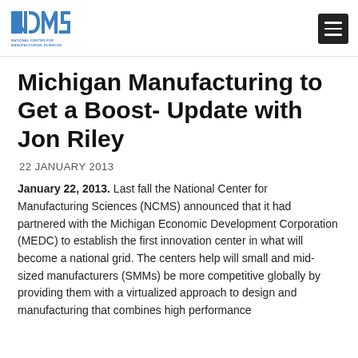NCMS - National Center for Manufacturing Sciences
Michigan Manufacturing to Get a Boost- Update with Jon Riley
22 JANUARY 2013
January 22, 2013. Last fall the National Center for Manufacturing Sciences (NCMS) announced that it had partnered with the Michigan Economic Development Corporation (MEDC) to establish the first innovation center in what will become a national grid. The centers help will small and mid-sized manufacturers (SMMs) be more competitive globally by providing them with a virtualized approach to design and manufacturing that combines high performance